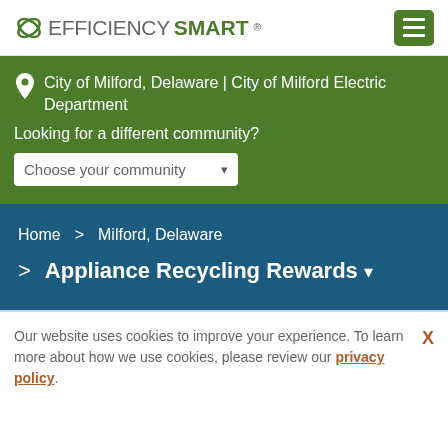EFFICIENCYSMART
City of Milford, Delaware | City of Milford Electric Department
Looking for a different community?
Choose your community
Home > Milford, Delaware > Appliance Recycling Rewards
Appliance Recycling Rewards
Our website uses cookies to improve your experience. To learn more about how we use cookies, please review our privacy policy.